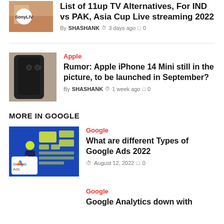[Figure (photo): Thumbnail image with Sony LIV logo for hotstar alternatives article]
List of 11up TV Alternatives, For IND vs PAK, Asia Cup Live streaming 2022
By SHASHANK  3 days ago  0
[Figure (photo): Thumbnail image of black iPhone back side]
Apple
Rumor: Apple iPhone 14 Mini still in the picture, to be launched in September?
By SHASHANK  1 week ago  0
MORE IN GOOGLE
[Figure (illustration): Google Ads illustration with person at computer and Google Ads logo on blue background]
Google
What are different Types of Google Ads 2022
August 12, 2022  0
Google
Google Analytics down with